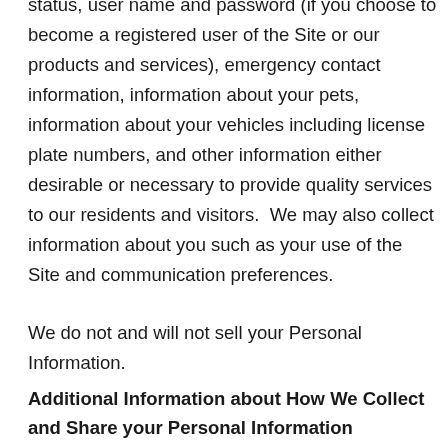status, user name and password (if you choose to become a registered user of the Site or our products and services), emergency contact information, information about your pets, information about your vehicles including license plate numbers, and other information either desirable or necessary to provide quality services to our residents and visitors.  We may also collect information about you such as your use of the Site and communication preferences.
We do not and will not sell your Personal Information.
Additional Information about How We Collect and Share your Personal Information
With respect to each of the categories of data above, we may also collect and share Personal Information with third parties to comply with legal obligations; when we believe in good faith that we are obligated to do so; at the request of...